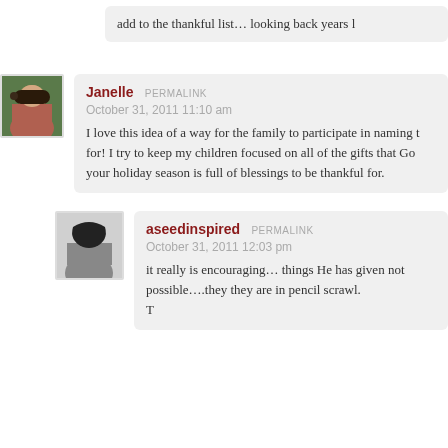add to the thankful list… looking back years l
Janelle  PERMALINK
October 31, 2011 11:10 am
I love this idea of a way for the family to participate in naming t for! I try to keep my children focused on all of the gifts that Go your holiday season is full of blessings to be thankful for.
aseedinspired  PERMALINK
October 31, 2011 12:03 pm
it really is encouraging… things He has given not possible….they they are in pencil scrawl. T